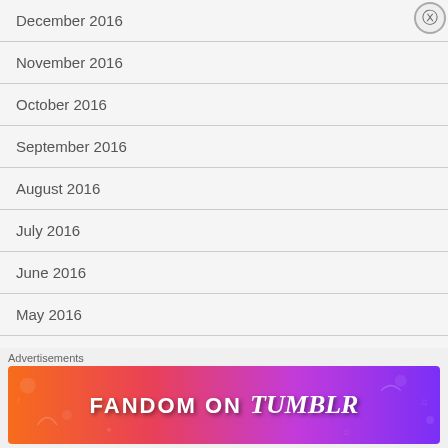December 2016
November 2016
October 2016
September 2016
August 2016
July 2016
June 2016
May 2016
April 2016
C...
Advertisements
[Figure (illustration): Fandom on Tumblr advertisement banner with colorful gradient background from orange to purple]